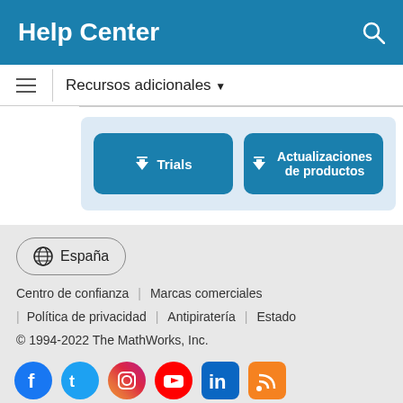Help Center
Recursos adicionales
[Figure (other): Two teal download buttons: 'Trials' and 'Actualizaciones de productos']
[Figure (other): Country selector button showing globe icon and 'España']
Centro de confianza | Marcas comerciales | Política de privacidad | Antipiratería | Estado | © 1994-2022 The MathWorks, Inc.
[Figure (other): Social media icons: Facebook, Twitter, Instagram, YouTube, LinkedIn, RSS]